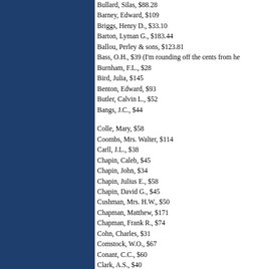Bullard, Silas, $88.28
Barney, Edward, $109
Briggs, Henry D., $33.10
Barton, Lyman G., $183.44
Ballou, Perley & sons, $123.81
Bass, O.H., $39 (I'm rounding off the cents from he
Burnham, F.L., $28
Bird, Julia, $145
Benton, Edward, $93
Butler, Calvin L., $52
Bangs, J.C., $44
Colle, Mary, $58
Coombs, Mrs. Walter, $114
Carll, J.L., $38
Chapin, Caleb, $45
Chapin, John, $34
Chapin, Julius E., $58
Chapin, David G., $45
Cushman, Mrs. H.W., $50
Chapman, Matthew, $171
Chapman, Frank R., $74
Cohn, Charles, $31
Comstock, W.O., $67
Conant, C.C., $60
Clark, A.S., $40
Childs, M.M., $68
Carpenter, Ira, $61
Coller, D.F., $48
Cook, R.W., $82
Clapp, Mrs. Anna C., $37
Clapp, Frederick, $62